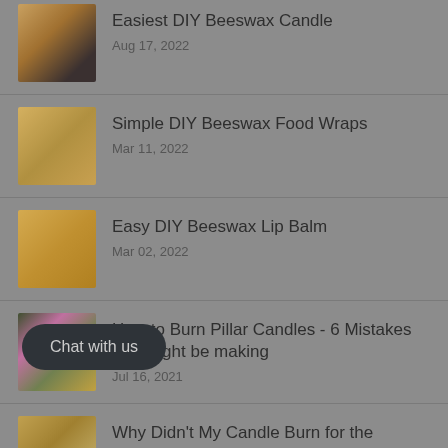[Figure (photo): Thumbnail of beeswax candles in small containers]
Easiest DIY Beeswax Candle
Aug 17, 2022
[Figure (photo): Thumbnail of beeswax food wraps with honeycomb pattern]
Simple DIY Beeswax Food Wraps
Mar 11, 2022
[Figure (photo): Thumbnail of beeswax lip balm pieces]
Easy DIY Beeswax Lip Balm
Mar 02, 2022
[Figure (photo): Thumbnail of pillar candle with flowers]
How to Burn Pillar Candles - 6 Mistakes you might be making
Jul 16, 2021
[Figure (photo): Thumbnail of candles on surface]
Why Didn't My Candle Burn for the Advertised Time